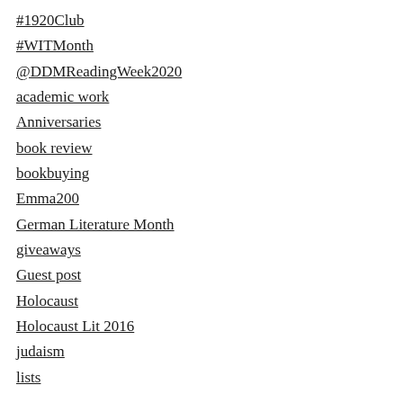#1920Club
#WITMonth
@DDMReadingWeek2020
academic work
Anniversaries
book review
bookbuying
Emma200
German Literature Month
giveaways
Guest post
Holocaust
Holocaust Lit 2016
judaism
lists